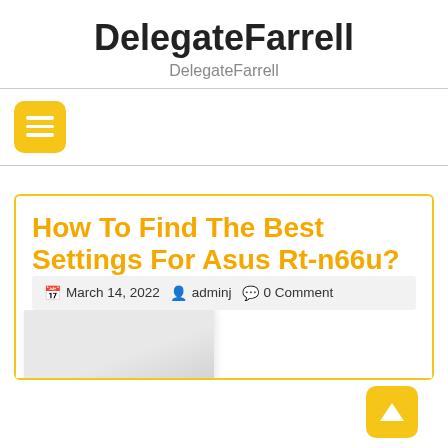DelegateFarrell
DelegateFarrell
[Figure (other): Hamburger menu button icon — yellow rounded square with three white horizontal lines]
How To Find The Best Settings For Asus Rt-n66u?
March 14, 2022   adminj   0 Comment
[Figure (photo): Partial view of an Asus Rt-n66u router, white/grey color, bottom of the card]